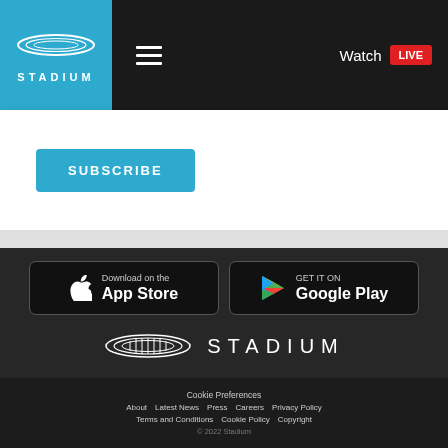[Figure (logo): Stadium logo in blue header box — oval stadium outline above STADIUM wordmark in white]
[Figure (screenshot): Hamburger menu icon (three horizontal lines) in dark header]
Watch LIVE
SUBSCRIBE
[Figure (logo): Apple App Store download badge — Apple logo + 'Download on the App Store']
[Figure (logo): Google Play badge — colorful triangle logo + 'GET IT ON Google Play']
[Figure (logo): Stadium logo centered — oval stadium illustration + STADIUM wordmark in white on dark background]
Cookie Preferences
About   Latest News   Press   Careers   Privacy Policy
Terms and Conditions   Cookie Policy   Copyright
© 2022 Stadium